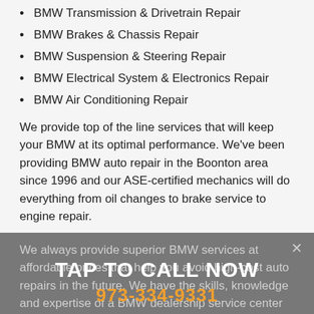BMW Transmission & Drivetrain Repair
BMW Brakes & Chassis Repair
BMW Suspension & Steering Repair
BMW Electrical System & Electronics Repair
BMW Air Conditioning Repair
We provide top of the line services that will keep your BMW at its optimal performance. We've been providing BMW auto repair in the Boonton area since 1996 and our ASE-certified mechanics will do everything from oil changes to brake service to engine repair.
We always provide superior BMW services at affordable prices that help you avoid high-cost auto repairs in the future. We have the skills, knowledge and expertise of a BMW dealership service center but with the one-on-one, personal service of a small independent auto repair shop.